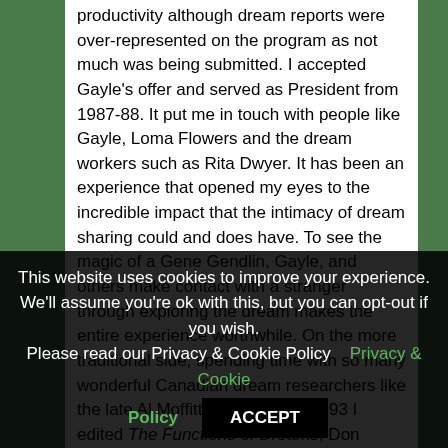productivity although dream reports were over-represented on the program as not much was being submitted. I accepted Gayle's offer and served as President from 1987-88. It put me in touch with people like Gayle, Loma Flowers and the dream workers such as Rita Dwyer. It has been an experience that opened my eyes to the incredible impact that the intimacy of dream sharing could and does have. To see the magic of a Gene Gendlin, Gayle, and others make contact with a stranger through exploring the dream makes the entire experience worthwhile. On the more traditional side, spending time with so many wonderful Canadian dream researchers like the late Al Moffitt with whom in 1993 I edited The Functions of Dreams, Don Kuiken, Tore Ni...
This website uses cookies to improve your experience. We'll assume you're ok with this, but you can opt-out if you wish. Please read our Privacy & Cookie Policy